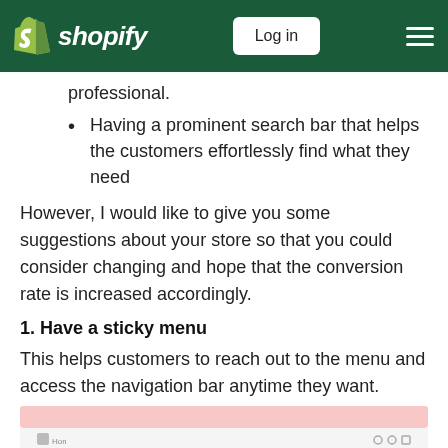Shopify — Log in
professional.
Having a prominent search bar that helps the customers effortlessly find what they need
However, I would like to give you some suggestions about your store so that you could consider changing and hope that the conversion rate is increased accordingly.
1. Have a sticky menu
This helps customers to reach out to the menu and access the navigation bar anytime they want.
[Figure (screenshot): Screenshot showing a website with a pink highlighted navigation bar and a website with a woman's image.]